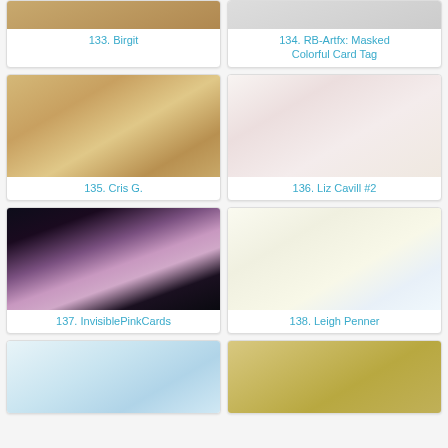[Figure (photo): Partial view of card entry 133 - Birgit]
133. Birgit
[Figure (photo): Partial view of card entry 134 - RB-Artfx: Masked Colorful Card Tag]
134. RB-Artfx: Masked Colorful Card Tag
[Figure (photo): Handmade card with travel theme: camera, globe, hello stamp on kraft paper - entry 135 Cris G.]
135. Cris G.
[Figure (photo): White embossed card with baby carriage and Lillie name banner - entry 136 Liz Cavill #2]
136. Liz Cavill #2
[Figure (photo): Dark atmospheric card with pink/purple clouds and life quote - entry 137 InvisiblePinkCards]
137. InvisiblePinkCards
[Figure (photo): White card with unicorn, stars and birthday wishes - entry 138 Leigh Penner]
138. Leigh Penner
[Figure (photo): Partial view of card with teal flowers on white background]
[Figure (photo): Partial view of card with vintage bicycle on patterned background]